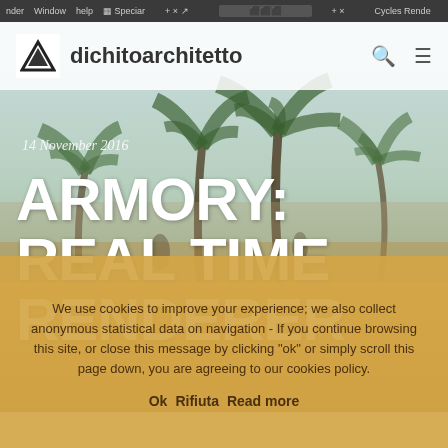render  Window  help  Speciar  Cycles Rende
[Figure (screenshot): Website screenshot of dichitoarchitetto showing palm tree beach hero image with navigation bar, date label, and large article title 'ARMORY: REAL TIME RENDERER']
dichitoarchitetto
14 November 2016
ARMORY: REAL TIME RENDERER
We use cookies to improve your experience; we also collect anonymous statistical data on navigation - If you continue browsing this site, or close this message by clicking "ok" or simply scroll this page down, you are agreeing to our cookies policy.
Ok  Rifiuta  Read more